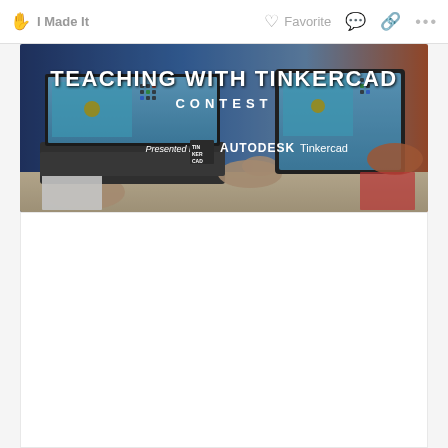✋ I Made It   ♥ Favorite 💬 🔗 ...
[Figure (photo): Teaching with Tinkercad Contest banner image showing students using laptops and tablets with Tinkercad software. Text overlay reads 'TEACHING WITH TINKERCAD CONTEST - Presented by AUTODESK Tinkercad' with the Tinkercad logo.]